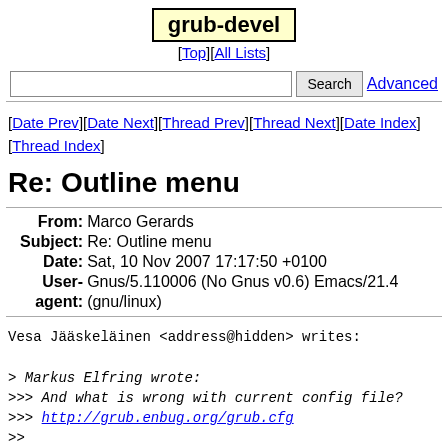grub-devel
[Top][All Lists]
Search | Advanced
[Date Prev][Date Next][Thread Prev][Thread Next][Date Index][Thread Index]
Re: Outline menu
| Field | Value |
| --- | --- |
| From | Marco Gerards |
| Subject | Re: Outline menu |
| Date | Sat, 10 Nov 2007 17:17:50 +0100 |
| User-agent | Gnus/5.110006 (No Gnus v0.6) Emacs/21.4 (gnu/linux) |
Vesa Jääskeläinen <address@hidden> writes:

> Markus Elfring wrote:
>>> And what is wrong with current config file?
>>> http://grub.enbug.org/grub.cfg
>>
>> How much documentation is available for this domain-sp